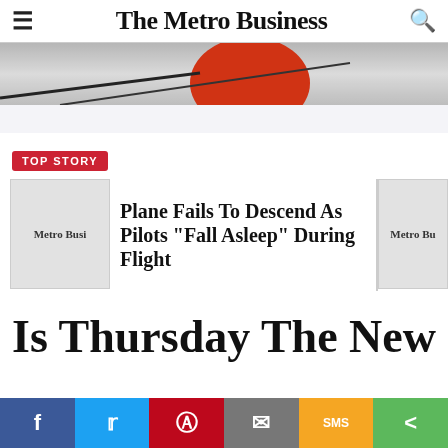The Metro Business
[Figure (photo): Cropped hero image showing a red circular object and dark lines on a light background, partial view]
TOP STORY
[Figure (photo): Thumbnail placeholder showing 'Metro Busi' label (Metro Business logo/thumbnail)]
Plane Fails To Descend As Pilots "Fall Asleep" During Flight
[Figure (photo): Partial right-side thumbnail showing 'Metro Bu' label]
Is Thursday The New